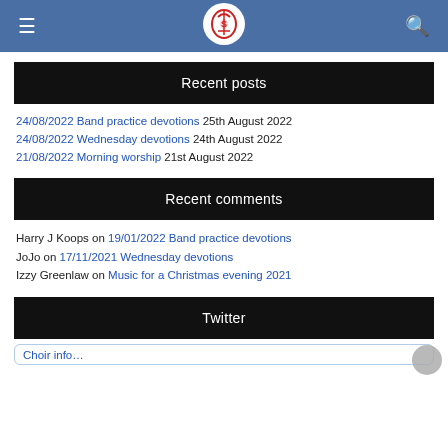Navigation bar with hamburger menu, logo, and search icon
Recent posts
24/08/2022 Band practice devotions 25th August 2022
24/08/2022 Wednesday devotions 24th August 2022
21/08/2022 Morning worship 21st August 2022
Recent comments
Harry J Koops on 19/01/2022 Band practice devotions
JoJo on 17/11/2021 Wednesday devotions
Izzy Greenlaw on Music for a Christmas evening 2021
Twitter